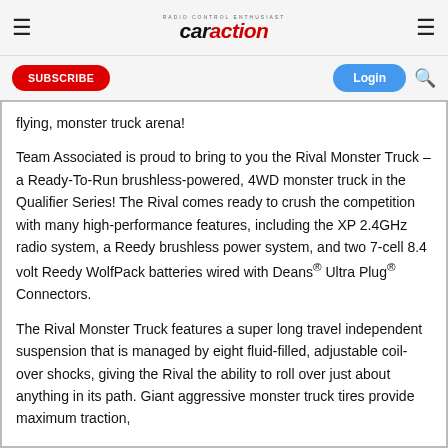RC Car Action — logo header with hamburger menus
SUBSCRIBE
Login
flying, monster truck arena!
Team Associated is proud to bring to you the Rival Monster Truck – a Ready-To-Run brushless-powered, 4WD monster truck in the Qualifier Series! The Rival comes ready to crush the competition with many high-performance features, including the XP 2.4GHz radio system, a Reedy brushless power system, and two 7-cell 8.4 volt Reedy WolfPack batteries wired with Deans® Ultra Plug® Connectors.
The Rival Monster Truck features a super long travel independent suspension that is managed by eight fluid-filled, adjustable coil-over shocks, giving the Rival the ability to roll over just about anything in its path. Giant aggressive monster truck tires provide maximum traction,